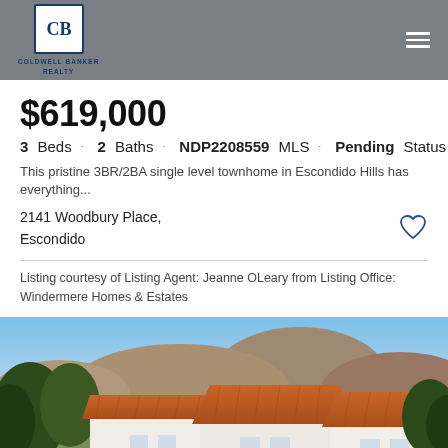[Figure (logo): Coldwell Banker Realty logo — CB monogram in blue square, text below]
$619,000
3 Beds · 2 Baths · NDP2208559 MLS · Pending Status
This pristine 3BR/2BA single level townhome in Escondido Hills has everything...
2141 Woodbury Place,
Escondido
Listing courtesy of Listing Agent: Jeanne OLeary from Listing Office: Windermere Homes & Estates
[Figure (photo): Exterior photo of a Spanish-style townhome with terracotta tile roofs, white stucco walls, surrounded by green trees, with brown hills and blue sky in background in Escondido Hills]